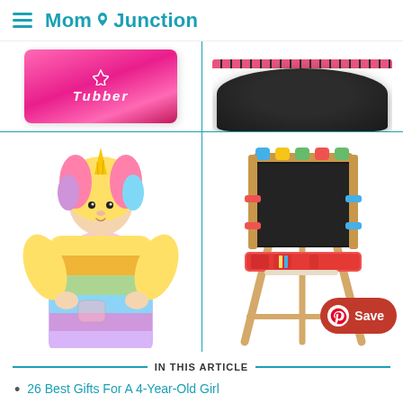MomJunction
[Figure (photo): Top-left: pink rectangular box product (Tubber brand). Top-right: black rounded tray with pink/decorative rim. Bottom-left: child wearing colorful rainbow unicorn hooded robe. Bottom-right: wooden art easel with chalkboard, colorful clips and red tray on legs.]
IN THIS ARTICLE
26 Best Gifts For A 4-Year-Old Girl
Why Trust MomJunction?